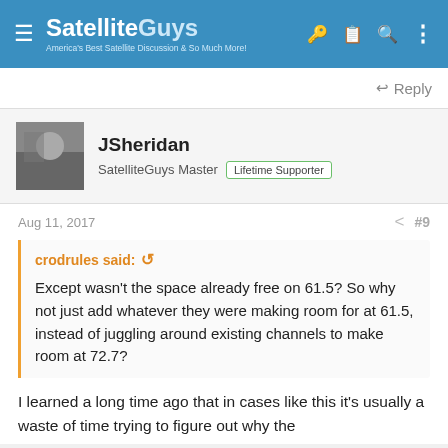SatelliteGuys — America's Best Satellite Discussion & So Much More!
Reply
JSheridan
SatelliteGuys Master  Lifetime Supporter
Aug 11, 2017  #9
crodrules said:
Except wasn't the space already free on 61.5? So why not just add whatever they were making room for at 61.5, instead of juggling around existing channels to make room at 72.7?
I learned a long time ago that in cases like this it's usually a waste of time trying to figure out why the